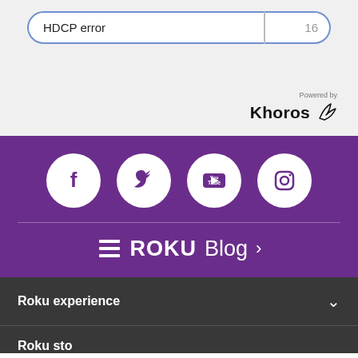|  |  |
| --- | --- |
| HDCP error | 16 |
[Figure (logo): Powered by Khoros logo with bird/wing icon]
[Figure (infographic): Purple social media icons row: Facebook, Twitter, YouTube, Instagram circles on purple background]
[Figure (logo): Roku Blog logo with hamburger menu icon on purple background]
Roku experience
Roku store